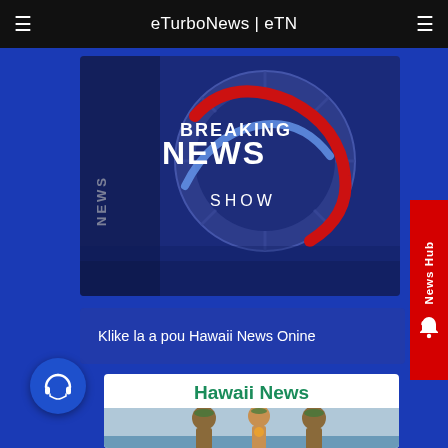eTurboNews | eTN
[Figure (screenshot): Breaking News Show graphic with spinning globe/dial, text BREAKING NEWS SHOW on dark blue background]
Klike la a pou Hawaii News Onine
[Figure (screenshot): Hawaii News card with green bold title 'Hawaii News' and photo of Hawaiian dancers/performers on beach]
[Figure (other): News Hub red sidebar tab with bell icon]
[Figure (other): Blue circular audio/download button with headphone icon]